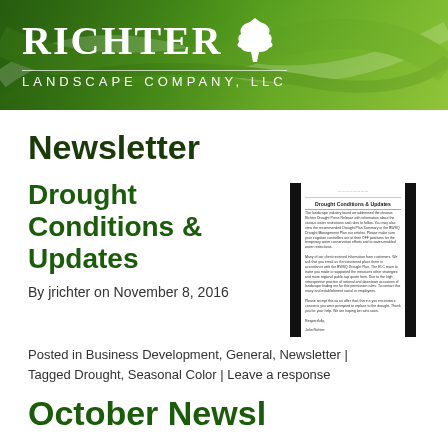[Figure (logo): Richter Landscape Company LLC logo with white tree icon and white text on green leafy banner background]
Newsletter
Drought Conditions & Updates
[Figure (screenshot): Thumbnail image of a document page titled Drought Conditions & Updates with body text, flanked by black bars on left and right]
By jrichter on November 8, 2016
Posted in Business Development, General, Newsletter | Tagged Drought, Seasonal Color | Leave a response
October Newsletter